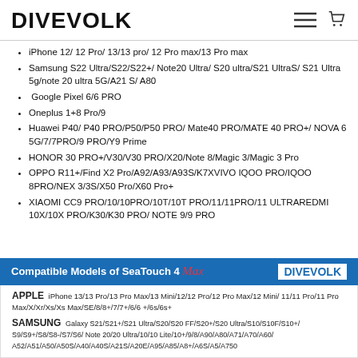DIVEVOLK
iPhone 12/ 12 Pro/ 13/13 pro/ 12 Pro max/13 Pro max
Samsung S22 Ultra/S22/S22+/ Note20 Ultra/ S20 ultra/S21 UltraS/ S21 Ultra 5g/note 20 ultra 5G/A21 S/ A80
Google Pixel 6/6 PRO
Oneplus 1+8 Pro/9
Huawei P40/ P40 PRO/P50/P50 PRO/ Mate40 PRO/MATE 40 PRO+/ NOVA 6 5G/7/7PRO/9 PRO/Y9 Prime
HONOR 30 PRO+/V30/V30 PRO/X20/Note 8/Magic 3/Magic 3 Pro
OPPO R11+/Find X2 Pro/A92/A93/A93S/K7XVIVO IQOO PRO/IQOO 8PRO/NEX 3/3S/X50 Pro/X60 Pro+
XIAOMI CC9 PRO/10/10PRO/10T/10T PRO/11/11PRO/11 ULTRAREDMI 10X/10X PRO/K30/K30 PRO/ NOTE 9/9 PRO
[Figure (infographic): Compatible Models of SeaTouch 4 Max banner with DIVEVOLK logo, listing APPLE and SAMSUNG compatible phone models]
APPLE iPhone 13/13 Pro/13 Pro Max/13 Mini/12/12 Pro/12 Pro Max/12 Mini/ 11/11 Pro/11 Pro Max/X/Xr/Xs/Xs Max/SE/8/8+/7/7+/6/6 +/6s/6s+
SAMSUNG Galaxy S21/S21+/S21 Ultra/S20/S20 FF/S20+/S20 Ultra/S10/S10F/S10+/ S9/S9+/S8/S8-/S7/S6/ Note 20/20 Ultra/10/10 Lite/10+/9/8/A90/A80/A71/A70/A60/ A52/A51/A50/A50S/A40/A40S/A21S/A20E/A95/A85/A8+/A6S/A5/A750